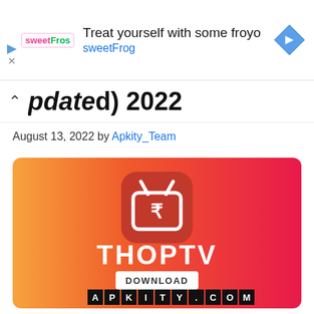[Figure (screenshot): Ad banner for sweetFrog frozen yogurt with logo, text 'Treat yourself with some froyo sweetFrog', and navigation icon]
pdated) 2022
August 13, 2022 by Apkity_Team
[Figure (photo): ThopTV app promotional banner with gradient orange-to-red background, ThopTV logo icon, THOPTV text, DOWNLOAD button, and APKITY.COM watermark]